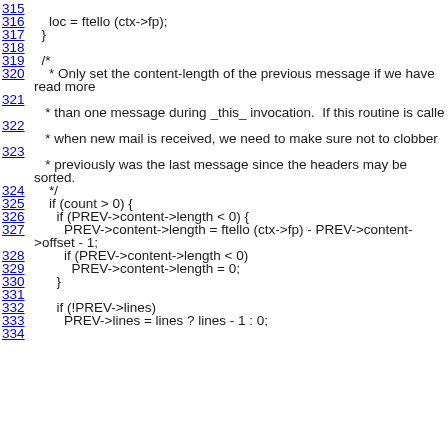Source code listing lines 315-334
315
316    loc = ftello (ctx->fp);
317  }
318
319  /*
320    * Only set the content-length of the previous message if we have read more
321
* than one message during _this_ invocation.  If this routine is called
322
* when new mail is received, we need to make sure not to clobber
323
* previously was the last message since the headers may be sorted.
324    */
325    if (count > 0) {
326      if (PREV->content->length < 0) {
327        PREV->content->length = ftello (ctx->fp) - PREV->content->offset - 1;
328        if (PREV->content->length < 0)
329          PREV->content->length = 0;
330      }
331
332      if (!PREV->lines)
333        PREV->lines = lines ? lines - 1 : 0;
334